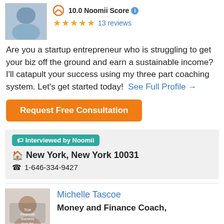[Figure (photo): Profile photo of a person (partially visible, top of page)]
10.0 Noomii Score
★★★★★ 13 reviews
Are you a startup entrepreneur who is struggling to get your biz off the ground and earn a sustainable income? I'll catapult your success using my three part coaching system. Let's get started today!  See Full Profile →
Request Free Consultation
🏷 Interviewed by Noomii
🏠 New York, New York 10031
☎ 1-646-334-9427
[Figure (photo): Profile photo of Michelle Tascoe with text overlay: True Financial Success From the Inside Out]
Michelle Tascoe
Money and Finance Coach,